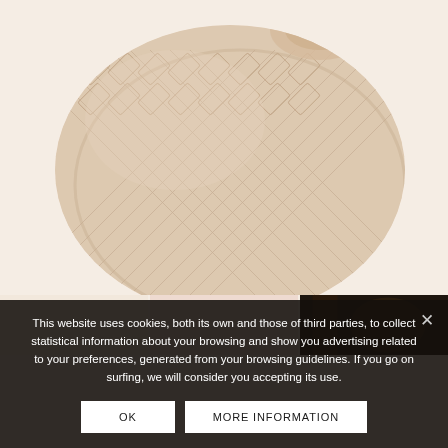[Figure (photo): Close-up product photo of a beige/cream woven leather bag (intrecciato weave pattern) on a light peach background. The bag has a knotted top handle detail and appears to be a round clutch or small purse.]
[Figure (photo): Row of three thumbnail images below the main product image: left shows light beige background, center shows light peach background, right shows a dark/black background with what appears to be a person holding the bag.]
This website uses cookies, both its own and those of third parties, to collect statistical information about your browsing and show you advertising related to your preferences, generated from your browsing guidelines. If you go on surfing, we will consider you accepting its use.
OK
MORE INFORMATION